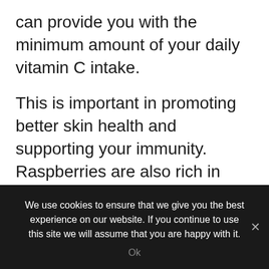can provide you with the minimum amount of your daily vitamin C intake.
This is important in promoting better skin health and supporting your immunity. Raspberries are also rich in vitamin K and manganese, which play a critical role in promoting better bone health. It’s also one of the low-sugar fruits, making it a perfect option for anyone looking to minimize their overall sugar intake.
We use cookies to ensure that we give you the best experience on our website. If you continue to use this site we will assume that you are happy with it.
Ok